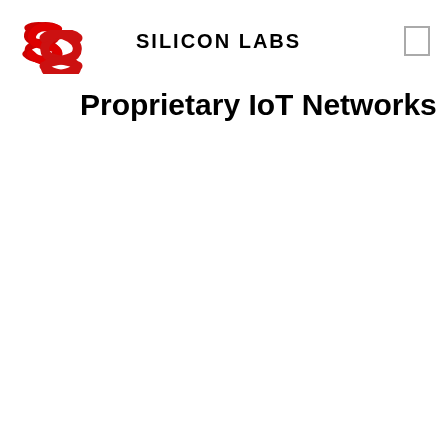Silicon Labs
Proprietary IoT Networks